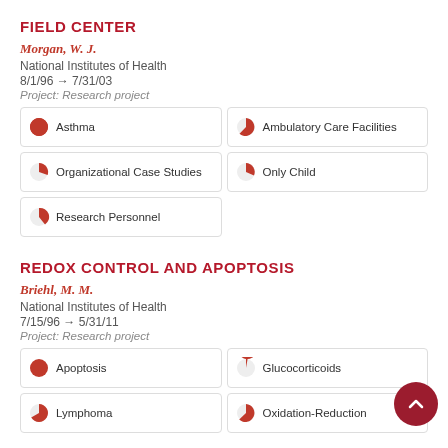FIELD CENTER
Morgan, W. J.
National Institutes of Health
8/1/96 → 7/31/03
Project: Research project
Asthma
Ambulatory Care Facilities
Organizational Case Studies
Only Child
Research Personnel
REDOX CONTROL AND APOPTOSIS
Briehl, M. M.
National Institutes of Health
7/15/96 → 5/31/11
Project: Research project
Apoptosis
Glucocorticoids
Lymphoma
Oxidation-Reduction